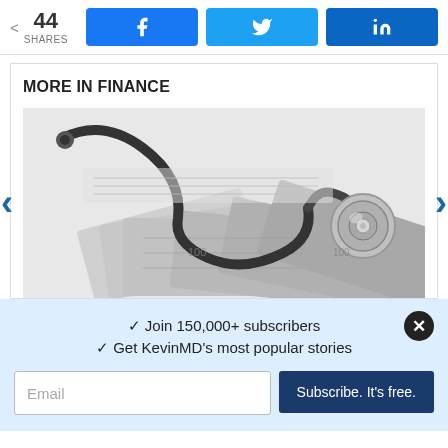44 SHARES  [Facebook] [Twitter] [LinkedIn]
MORE IN FINANCE
[Figure (photo): A stethoscope resting on top of US dollar bills, black and white / grayscale photo suggesting medical finance.]
✓ Join 150,000+ subscribers
✓ Get KevinMD's most popular stories
Email  Subscribe. It's free.